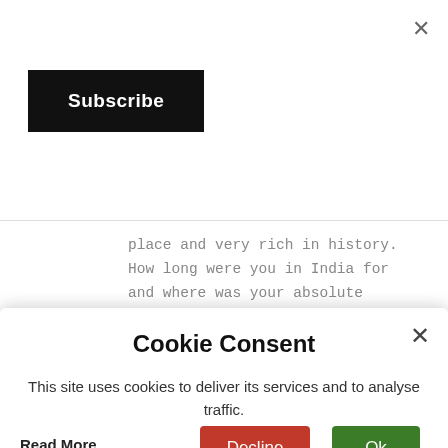×
Subscribe
place and very rich in history. How long were you in India for and where was your absolute favourite place (I know, tough question)?
REPLY
[Figure (illustration): Blogger avatar icon - orange circle with white B logo]
Unknown   April 20, 2017 at 12:11 PM
Cookie Consent
This site uses cookies to deliver its services and to analyse traffic.
Read More
Decline
Ok